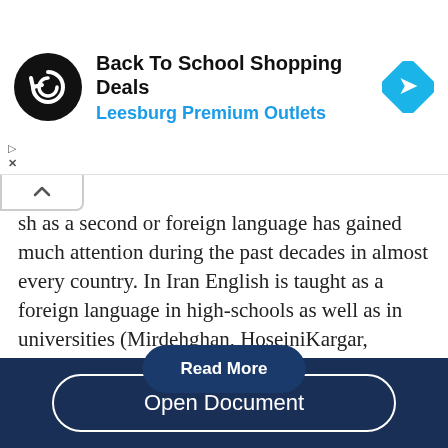[Figure (infographic): Advertisement banner: Back To School Shopping Deals at Leesburg Premium Outlets, with circular logo and blue direction icon on right]
sh as a second or foreign language has gained much attention during the past decades in almost every country. In Iran English is taught as a foreign language in high-schools as well as in universities (Mirdehghan, HoseiniKargar, Navab, & Mahmoodi, 2011). Aside from different language courses presented in different levels of public academic centers, there are also private institutes that teach different levels of foreign language...
Open Document